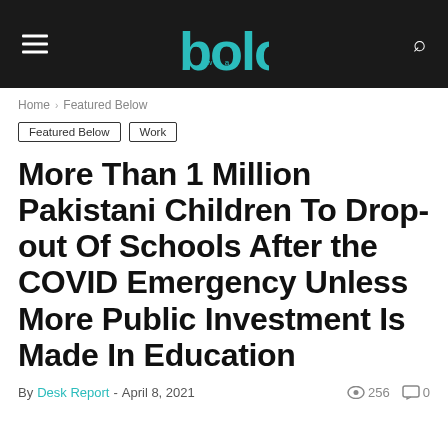bolo
Home › Featured Below
Featured Below
Work
More Than 1 Million Pakistani Children To Drop-out Of Schools After the COVID Emergency Unless More Public Investment Is Made In Education
By Desk Report - April 8, 2021  256  0